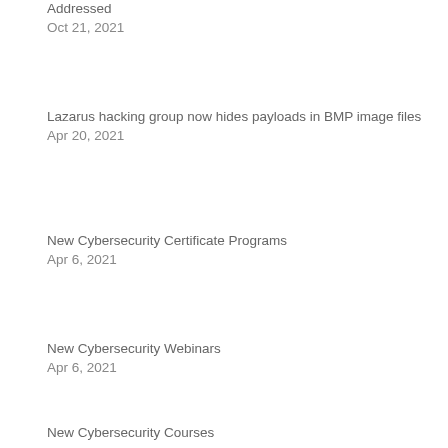Addressed
Oct 21, 2021
Lazarus hacking group now hides payloads in BMP image files
Apr 20, 2021
New Cybersecurity Certificate Programs
Apr 6, 2021
New Cybersecurity Webinars
Apr 6, 2021
New Cybersecurity Courses